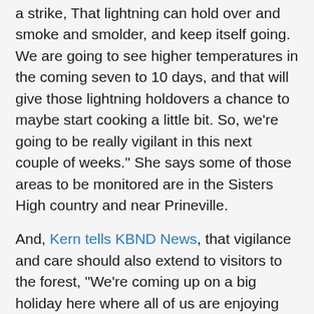a strike, That lightning can hold over and smoke and smolder, and keep itself going. We are going to see higher temperatures in the coming seven to 10 days, and that will give those lightning holdovers a chance to maybe start cooking a little bit. So, we're going to be really vigilant in this next couple of weeks." She says some of those areas to be monitored are in the Sisters High country and near Prineville.
And, Kern tells KBND News, that vigilance and care should also extend to visitors to the forest, "We're coming up on a big holiday here where all of us are enjoying our public lands and maybe getting out. Just be ever mindful and diligent about your ignition sources. We're getting into that place where, with the high fire danger, we would anticipate more ignitions."
She also reminds everyone that even the possession of fireworks on public lands is illegal.